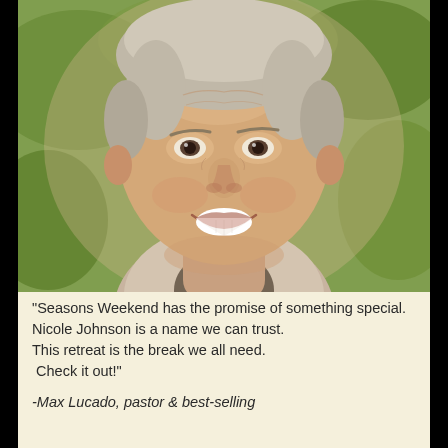[Figure (photo): Close-up portrait photo of a smiling middle-aged man with short gray hair, wearing a light-colored collared shirt, with green foliage in the background.]
"Seasons Weekend has the promise of something special. Nicole Johnson is a name we can trust. This retreat is the break we all need. Check it out!"
-Max Lucado, pastor & best-selling author